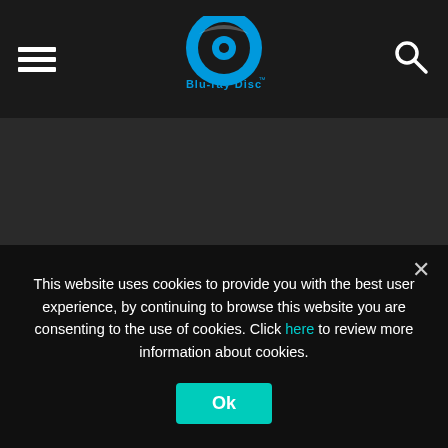final fight, deleted scenes, alternate ending and blu-spec
[Figure (logo): Blu-ray Disc logo with hamburger menu icon on left and search icon on right, on dark navigation bar]
[Figure (screenshot): Dark grey content area below navigation bar]
This website uses cookies to provide you with the best user experience, by continuing to browse this website you are consenting to the use of cookies. Click here to review more information about cookies.
Ok